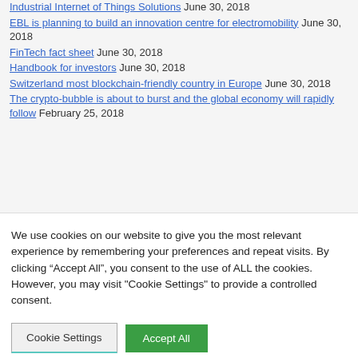Industrial Internet of Things Solutions June 30, 2018
EBL is planning to build an innovation centre for electromobility June 30, 2018
FinTech fact sheet June 30, 2018
Handbook for investors June 30, 2018
Switzerland most blockchain-friendly country in Europe June 30, 2018
The crypto-bubble is about to burst and the global economy will rapidly follow February 25, 2018
We use cookies on our website to give you the most relevant experience by remembering your preferences and repeat visits. By clicking “Accept All”, you consent to the use of ALL the cookies. However, you may visit "Cookie Settings" to provide a controlled consent.